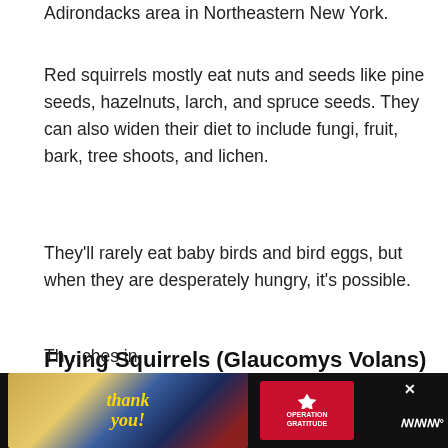Adirondacks area in Northeastern New York.
Red squirrels mostly eat nuts and seeds like pine seeds, hazelnuts, larch, and spruce seeds. They can also widen their diet to include fungi, fruit, bark, tree shoots, and lichen.
They'll rarely eat baby birds and bird eggs, but when they are desperately hungry, it's possible.
Flying Squirrels (Glaucomys Volans)
Th...ches in
[Figure (photo): Advertisement banner: 'Thank you' Operation Gratitude ad with firefighters photo and close button]